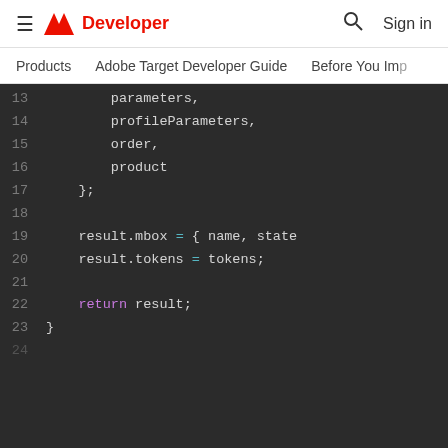Adobe Developer — Sign in
Products | Adobe Target Developer Guide | Before You Imp
[Figure (screenshot): Dark-themed code editor showing JavaScript code lines 13–23. Line 13: parameters, Line 14: profileParameters, Line 15: order, Line 16: product, Line 17: };, Line 18: (empty), Line 19: result.mbox = { name, state, Line 20: result.tokens = tokens;, Line 21: (empty), Line 22: return result;, Line 23: }]